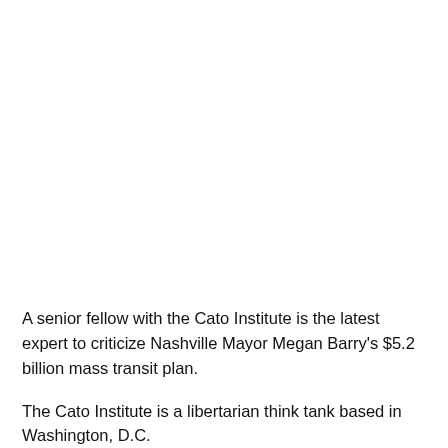A senior fellow with the Cato Institute is the latest expert to criticize Nashville Mayor Megan Barry's $5.2 billion mass transit plan.
The Cato Institute is a libertarian think tank based in Washington, D.C.